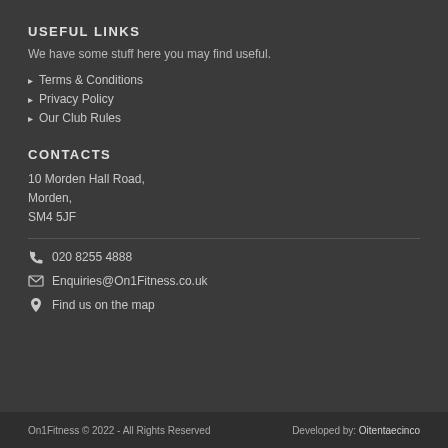USEFUL LINKS
We have some stuff here you may find useful.
Terms & Conditions
Privacy Policy
Our Club Rules
CONTACTS
10 Morden Hall Road,
Morden,
SM4 5JF
020 8255 4888
Enquiries@On1Fitness.co.uk
Find us on the map
On1Fitness © 2022 - All Rights Reserved    Developed by: Oitentaecinco